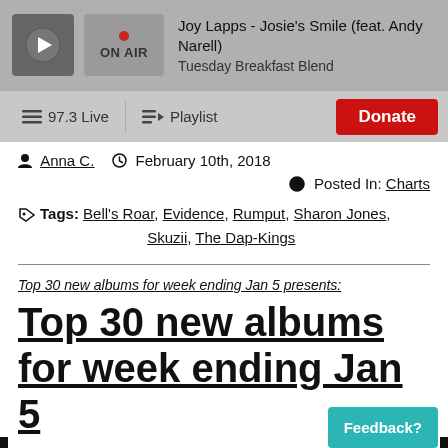[Figure (screenshot): Radio player top bar showing play button, ON AIR indicator, track title 'Joy Lapps - Josie's Smile (feat. Andy Narell)' and show name 'Tuesday Breakfast Blend']
97.3 Live  Playlist  Donate
Anna C.  February 10th, 2018
Posted In: Charts
Tags: Bell's Roar, Evidence, Rumput, Sharon Jones, Skuzii, The Dap-Kings
Top 30 new albums for week ending Jan 5 presents:
Top 30 new albums for week ending Jan 5